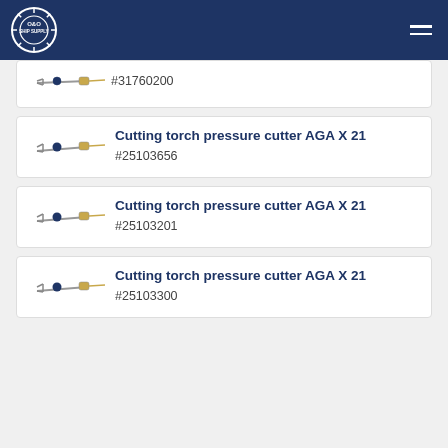O&O Ship Supply
#31760200
Cutting torch pressure cutter AGA X 21
#25103656
Cutting torch pressure cutter AGA X 21
#25103201
Cutting torch pressure cutter AGA X 21
#25103300